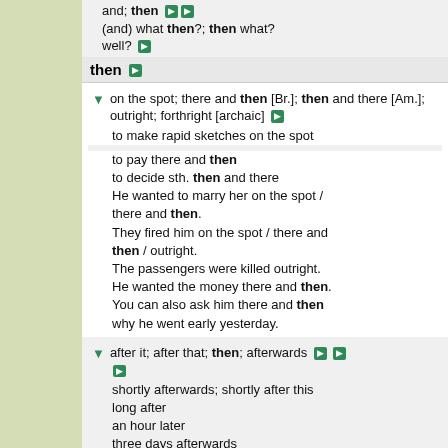and; then (and) what then?; then what? well?
then
on the spot; there and then [Br.]; then and there [Am.]; outright; forthright [archaic]
to make rapid sketches on the spot
to pay there and then
to decide sth. then and there
He wanted to marry her on the spot / there and then.
They fired him on the spot / there and then / outright.
The passengers were killed outright.
He wanted the money there and then.
You can also ask him there and then why he went early yesterday.
after it; after that; then; afterwards
shortly afterwards; shortly after this
long after
an hour later
three days afterwards
for days afterwards
Afterwards we went to the movies.
but then again; but then; then again; but